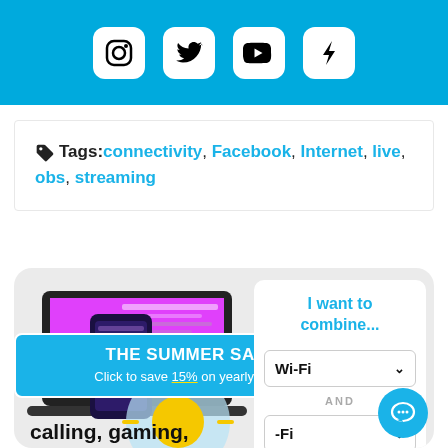[Figure (illustration): Blue banner with four social media icons (Instagram, Twitter, YouTube/dark bird, Tumblr/lightning) in white rounded squares]
Tags: connectivity, Facebook, Internet, live, obs, streaming
[Figure (infographic): App promotion widget showing: product screenshot of a laptop and phone with dark UI, a sun circle graphic, a 'THE SUMMER SALE - Click to save 15% on yearly plans' blue banner, text 'calling, gaming,' at bottom, and a right-side white panel with 'I want to combine...' heading and Wi-Fi dropdown selections with AND separator, plus a blue chat bubble icon.]